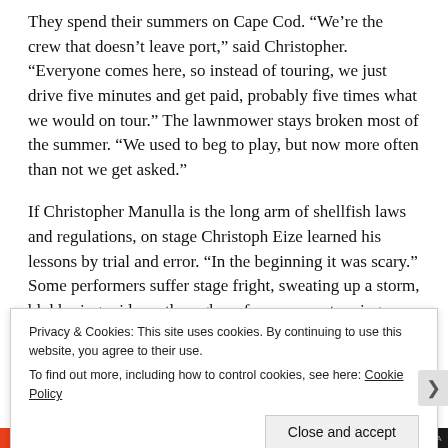They spend their summers on Cape Cod. “We’re the crew that doesn’t leave port,” said Christopher. “Everyone comes here, so instead of touring, we just drive five minutes and get paid, probably five times what we would on tour.” The lawnmower stays broken most of the summer. “We used to beg to play, but now more often than not we get asked.”
If Christopher Manulla is the long arm of shellfish laws and regulations, on stage Christoph Eize learned his lessons by trial and error. “In the beginning it was scary.” Some performers suffer stage fright, sweating up a storm, blubbering midway through performances, stopping dead, their minds gone blank.
“You have to learn through the failure,” he said...
Privacy & Cookies: This site uses cookies. By continuing to use this website, you agree to their use.
To find out more, including how to control cookies, see here: Cookie Policy
Close and accept